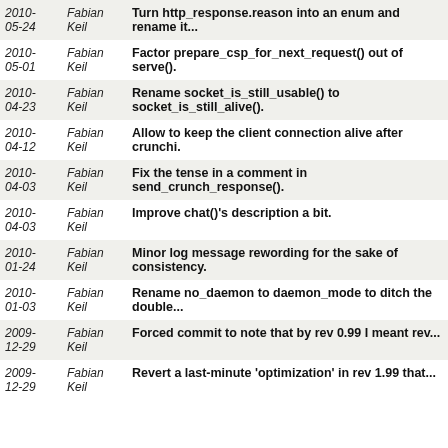| Date | Author | Message |
| --- | --- | --- |
| 2010-05-24 | Fabian Keil | Turn http_response.reason into an enum and rename it... |
| 2010-05-01 | Fabian Keil | Factor prepare_csp_for_next_request() out of serve(). |
| 2010-04-23 | Fabian Keil | Rename socket_is_still_usable() to socket_is_still_alive(). |
| 2010-04-12 | Fabian Keil | Allow to keep the client connection alive after crunchi. |
| 2010-04-03 | Fabian Keil | Fix the tense in a comment in send_crunch_response(). |
| 2010-04-03 | Fabian Keil | Improve chat()'s description a bit. |
| 2010-01-24 | Fabian Keil | Minor log message rewording for the sake of consistency. |
| 2010-01-03 | Fabian Keil | Rename no_daemon to daemon_mode to ditch the double... |
| 2009-12-29 | Fabian Keil | Forced commit to note that by rev 0.99 I meant rev... |
| 2009-12-29 | Fabian Keil | Revert a last-minute 'optimization' in rev 1.99 that... |